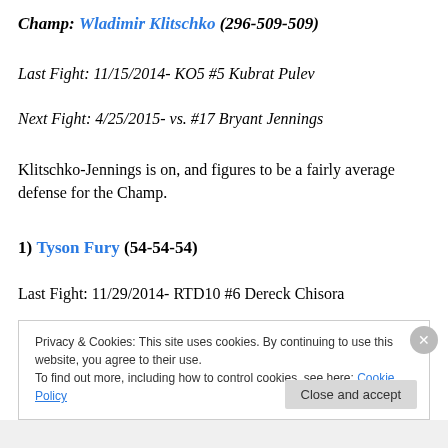Champ: Wladimir Klitschko (296-509-509)
Last Fight: 11/15/2014- KO5 #5 Kubrat Pulev
Next Fight: 4/25/2015- vs. #17 Bryant Jennings
Klitschko-Jennings is on, and figures to be a fairly average defense for the Champ.
1) Tyson Fury (54-54-54)
Last Fight: 11/29/2014- RTD10 #6 Dereck Chisora
Privacy & Cookies: This site uses cookies. By continuing to use this website, you agree to their use. To find out more, including how to control cookies, see here: Cookie Policy